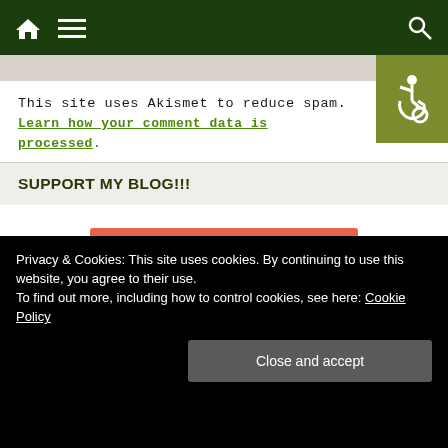Navigation bar with home, menu, and search icons
This site uses Akismet to reduce spam. Learn how your comment data is processed.
SUPPORT MY BLOG!!!
[Figure (other): Become a Patron button (Patreon) — red/coral button with Patreon logo bar+circle icon and text BECOME A PATRON]
TRANSLATE
Privacy & Cookies: This site uses cookies. By continuing to use this website, you agree to their use. To find out more, including how to control cookies, see here: Cookie Policy
Close and accept